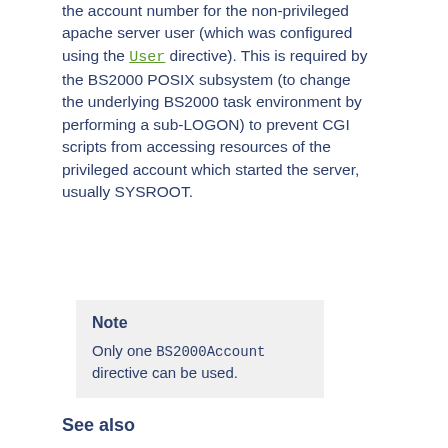the account number for the non-privileged apache server user (which was configured using the User directive). This is required by the BS2000 POSIX subsystem (to change the underlying BS2000 task environment by performing a sub-LOGON) to prevent CGI scripts from accessing resources of the privileged account which started the server, usually SYSROOT.
Note
Only one BS2000Account directive can be used.
See also